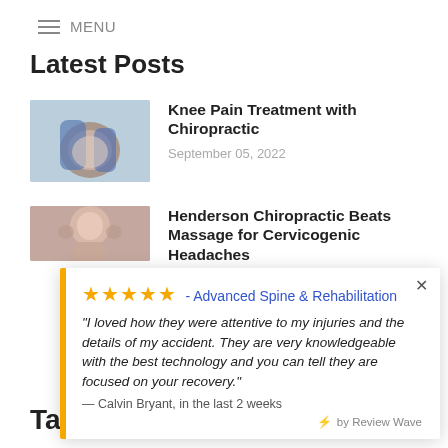≡ MENU
Latest Posts
[Figure (photo): Thumbnail photo of a person holding their knee]
Knee Pain Treatment with Chiropractic
September 05, 2022
[Figure (photo): Thumbnail photo of a person with hands on their head/temples]
Henderson Chiropractic Beats Massage for Cervicogenic Headaches
★★★★★ - Advanced Spine & Rehabilitation
"I loved how they were attentive to my injuries and the details of my accident. They are very knowledgeable with the best technology and you can tell they are focused on your recovery."
— Calvin Bryant, in the last 2 weeks
⚡ by Review Wave
Tags